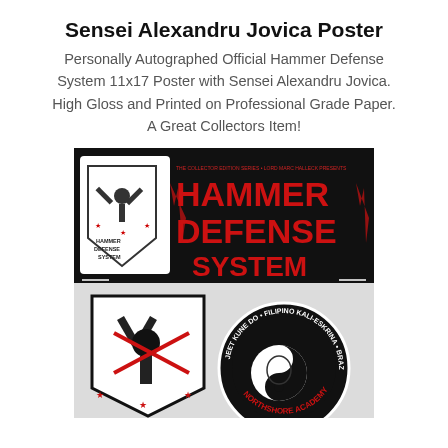Sensei Alexandru Jovica Poster
Personally Autographed Official Hammer Defense System 11x17 Poster with Sensei Alexandru Jovica. High Gloss and Printed on Professional Grade Paper. A Great Collectors Item!
[Figure (photo): Product photo showing the Hammer Defense System collector edition poster and stickers. Top portion has a black banner with red large text reading HAMMER DEFENSE SYSTEM and a shield logo on the left. Bottom portion shows a close-up of stickers including a Hammer Defense System shield sticker and a circular Northshore Academy sticker with jeet kune do, Filipino Kali-Eskrina, Brazilian Jiu-Jitsu text.]